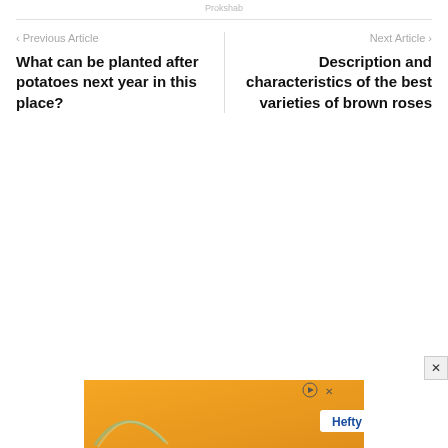Prokshab
< Previous Article
What can be planted after potatoes next year in this place?
Next Article >
Description and characteristics of the best varieties of brown roses
[Figure (other): Orange advertisement banner for Hefty brand with arc/swoosh logo graphic and play/close controls]